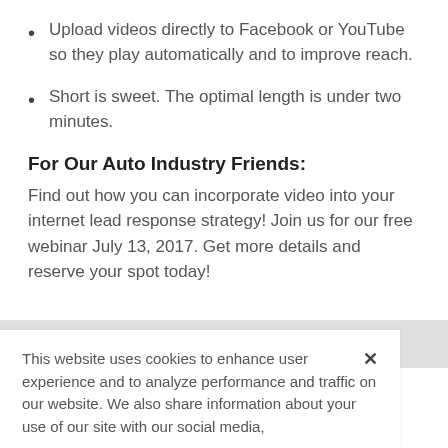Upload videos directly to Facebook or YouTube so they play automatically and to improve reach.
Short is sweet. The optimal length is under two minutes.
For Our Auto Industry Friends:
Find out how you can incorporate video into your internet lead response strategy! Join us for our free webinar July 13, 2017. Get more details and reserve your spot today!
This website uses cookies to enhance user experience and to analyze performance and traffic on our website. We also share information about your use of our site with our social media,